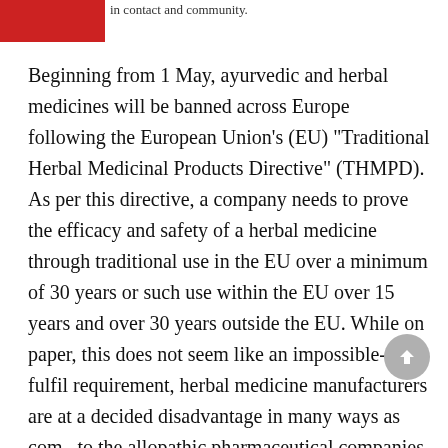in contact and community.
Beginning from 1 May, ayurvedic and herbal medicines will be banned across Europe following the European Union’s (EU) “Traditional Herbal Medicinal Products Directive” (THMPD). As per this directive, a company needs to prove the efficacy and safety of a herbal medicine through traditional use in the EU over a minimum of 30 years or such use within the EU over 15 years and over 30 years outside the EU. While on paper, this does not seem like an impossible-to-fulfil requirement, herbal medicine manufacturers are at a decided disadvantage in many ways as compared to the allopathic pharmaceutical companies. In fact, the former have termed the directive “discriminatory and disproportionate”. This could